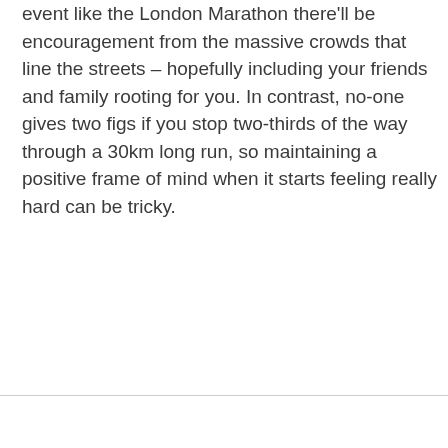event like the London Marathon there'll be encouragement from the massive crowds that line the streets – hopefully including your friends and family rooting for you. In contrast, no-one gives two figs if you stop two-thirds of the way through a 30km long run, so maintaining a positive frame of mind when it starts feeling really hard can be tricky.